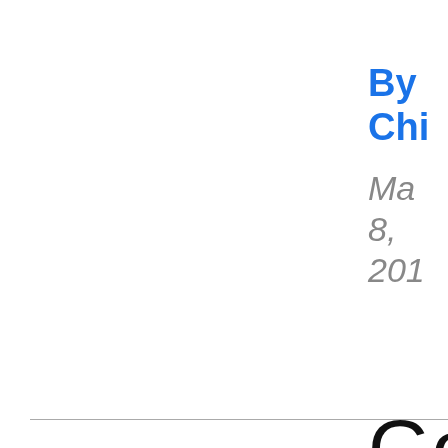By Chi
Ma 8, 201
Go
the
eve
eco